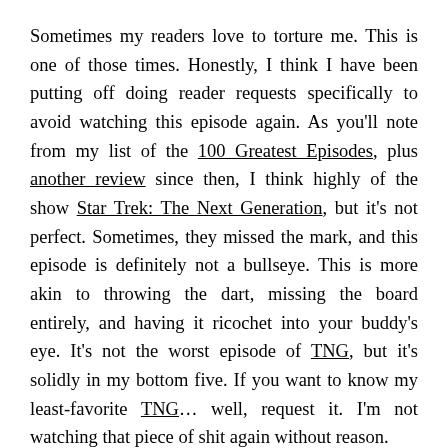Sometimes my readers love to torture me. This is one of those times. Honestly, I think I have been putting off doing reader requests specifically to avoid watching this episode again. As you'll note from my list of the 100 Greatest Episodes, plus another review since then, I think highly of the show Star Trek: The Next Generation, but it's not perfect. Sometimes, they missed the mark, and this episode is definitely not a bullseye. This is more akin to throwing the dart, missing the board entirely, and having it ricochet into your buddy's eye. It's not the worst episode of TNG, but it's solidly in my bottom five. If you want to know my least-favorite TNG… well, request it. I'm not watching that piece of shit again without reason.
Quick Recap of Star Trek: The Next Generation: Takes place about 100 years after the original Star Trek, and features the crew of the next...